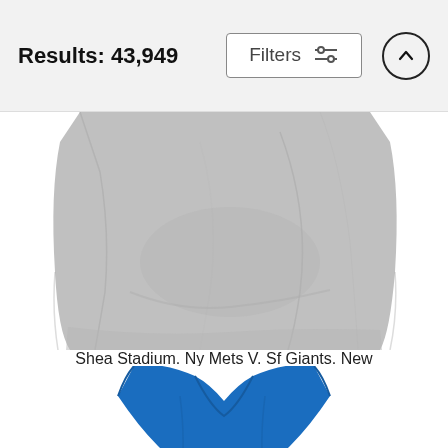Results: 43,949
Filters
[Figure (photo): Close-up of bottom portion of a gray t-shirt on white background]
Shea Stadium. Ny Mets V. Sf Giants. New
Panoramic Images
$26 (strikethrough) $21
[Figure (photo): Top portion of a blue sleeveless tank top on white background]